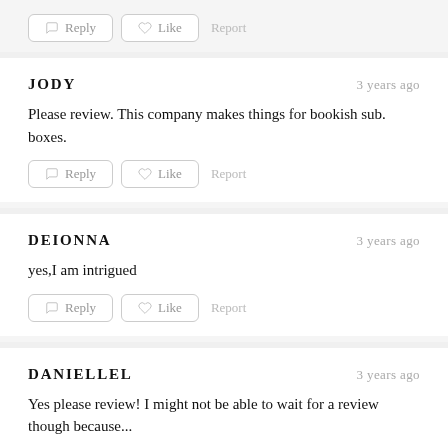Reply | Like | Report (top action row)
JODY — 3 years ago
Please review. This company makes things for bookish sub. boxes.
Reply | Like | Report
DEIONNA — 3 years ago
yes,I am intrigued
Reply | Like | Report
DANIELLEL — 3 years ago
Yes please review! I might not be able to wait for a review though because...